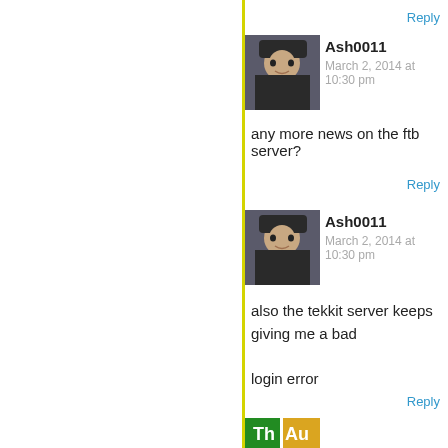Reply
[Figure (illustration): Anime-style avatar of Ash0011 wearing a dark hat]
Ash0011
March 2, 2014 at 10:30 pm
any more news on the ftb server?
Reply
[Figure (illustration): Anime-style avatar of Ash0011 wearing a dark hat]
Ash0011
March 2, 2014 at 10:30 pm
also the tekkit server keeps giving me a bad login error
Reply
[Figure (illustration): Periodic table style avatar partially visible at bottom]